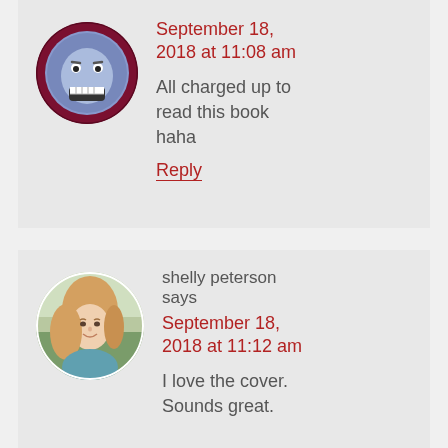[Figure (illustration): Circular avatar icon showing an angry/scared blue cartoon face with gritted teeth on a dark red background]
September 18, 2018 at 11:08 am
All charged up to read this book haha
Reply
[Figure (photo): Circular profile photo of a blonde woman smiling, outdoors]
shelly peterson says
September 18, 2018 at 11:12 am
I love the cover. Sounds great.